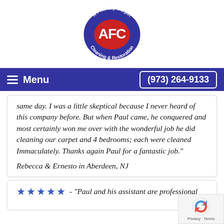[Figure (logo): A Friendly Carpet Cleaning & Restoration logo - oval shape with dark blue/purple background, red oval in center with white 'AFC' letters, white text around border]
Menu
(973) 264-9133
same day. I was a little skeptical because I never heard of this company before. But when Paul came, he conquered and most certainly won me over with the wonderful job he did cleaning our carpet and 4 bedrooms; each were cleaned Immaculately. Thanks again Paul for a fantastic job."
Rebecca & Ernesto in Aberdeen, NJ
★★★★★ - "Paul and his assistant are professional